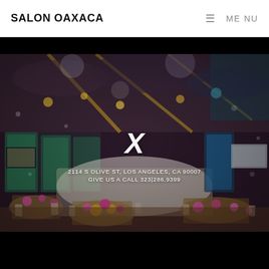SALON OAXACA   ☰ MENU
[Figure (photo): Interior of Salon Oaxaca banquet hall with decorated tables, pink floral centerpieces, golden accents, a dance floor, and colorful ceiling lighting. A white X symbol is overlaid in the center. Address text overlaid at bottom: 2114 S OLIVE ST, LOS ANGELES, CA 90007 / GIVE US A CALL 323|286.9399]
2114 S OLIVE ST, LOS ANGELES, CA 90007
GIVE US A CALL 323|286.9399